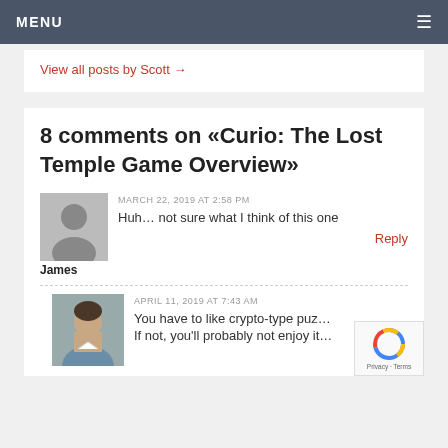MENU
View all posts by Scott →
8 comments on «Curio: The Lost Temple Game Overview»
MARCH 22, 2019 AT 2:58 PM
Huh… not sure what I think of this one
Reply
James
APRIL 11, 2019 AT 7:43 AM
You have to like crypto-type puz…
If not, you'll probably not enjoy it…